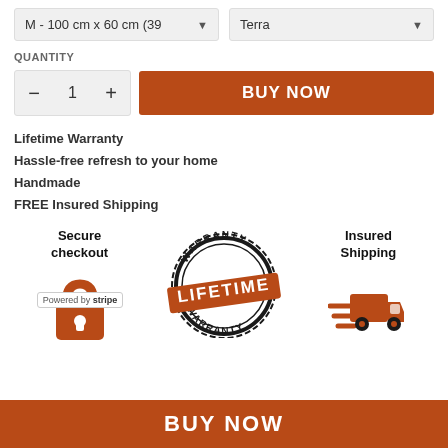M - 100 cm x 60 cm (39
Terra
QUANTITY
BUY NOW
Lifetime Warranty
Hassle-free refresh to your home
Handmade
FREE Insured Shipping
[Figure (infographic): Three trust badge icons: Secure checkout with padlock and Powered by stripe label, Lifetime Warranty circular stamp, Insured Shipping with delivery truck]
BUY NOW